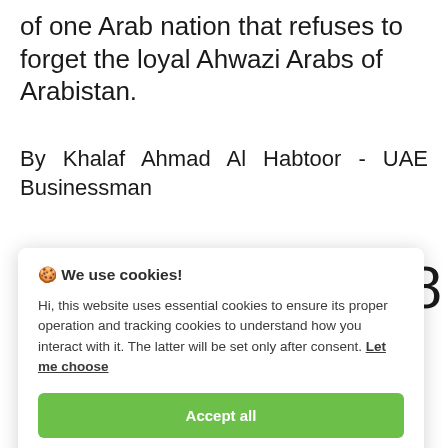of one Arab nation that refuses to forget the loyal Ahwazi Arabs of Arabistan.
By Khalaf Ahmad Al Habtoor - UAE Businessman
🍪 We use cookies!

Hi, this website uses essential cookies to ensure its proper operation and tracking cookies to understand how you interact with it. The latter will be set only after consent. Let me choose

Accept all

Reject all